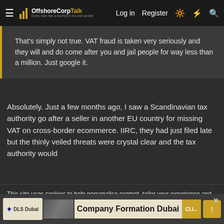OffshoreCorpTalk — Log in | Register
That's simply not true. VAT fraud is taken very seriously and they will and do come after you and jail people for way less than a million. Just google it.
Absolutely. Just a few months ago, I saw a Scandinavian tax authority go after a seller in another EU country for missing VAT on cross-border ecommerce. IIRC, they had just filed late but the thinly veiled threats were crystal clear and the tax authority would
This site uses cookies to help personalise content, tailor your experience and to keep you logged in if you register.
By continuing to use this site, you are consenting to our use of cookies.
✓ Accept    Learn more...
Company Formation Dubai